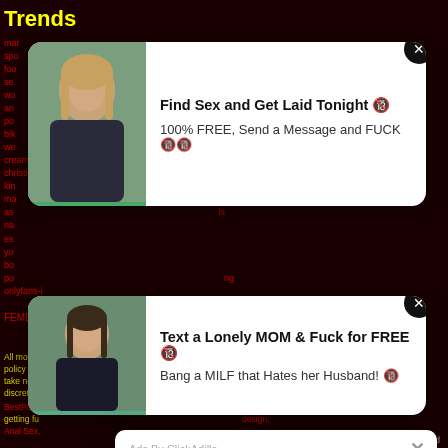Trends
creampie, brazzers porna star, blood sex xnxx1030blood sex xnxx online porn erolentacom, christineesh-onlyfans/, pornhub virgins, bratty_g, gidsrude, jada stevens 69, pussy fuck com, kin...
FEMDOM
[Figure (screenshot): Ad popup: Find Sex and Get Laid Tonight. 100% FREE, Send a Message and FUCK. With woman photo on left and X close button.]
[Figure (screenshot): Ad popup: Text a Lonely MOM & Fuck for FREE. Bang a MILF that Hates her Husband! With woman photo on left and X close button.]
[Figure (screenshot): ClickAdilla ad overlay: Kate sent you (5) pictures. Click OK to display the photo. With Ok button (small, top right) and large Ok button below.]
All models... erance policy aga... ities. We take no re... wn discretion ...
BestPorn, ... bitches getting fu... design, Anal Sex,
2sd